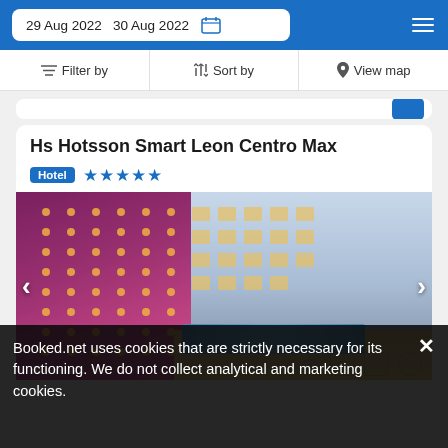29 Aug 2022  30 Aug 2022
Filter by  Sort by  View map
Hs Hotsson Smart Leon Centro Max
Hotel ★★★★★
[Figure (photo): Hotel exterior photo showing a decorative illuminated red/purple padded wall on the left, a modern multi-story building on the right, and a swimming pool in the foreground with outdoor furniture. Navigation arrows on left and right.]
Booked.net uses cookies that are strictly necessary for its functioning. We do not collect analytical and marketing cookies.
56 reviews